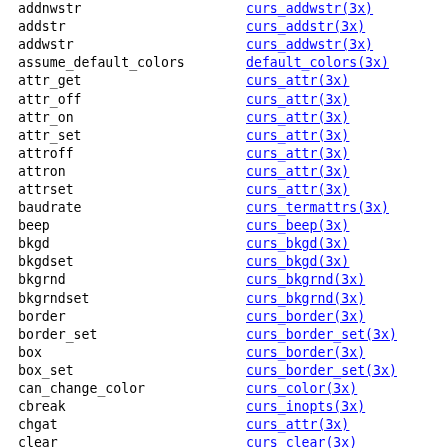| function | man page |
| --- | --- |
| addnwstr | curs_addwstr(3x) |
| addstr | curs_addstr(3x) |
| addwstr | curs_addwstr(3x) |
| assume_default_colors | default_colors(3x) |
| attr_get | curs_attr(3x) |
| attr_off | curs_attr(3x) |
| attr_on | curs_attr(3x) |
| attr_set | curs_attr(3x) |
| attroff | curs_attr(3x) |
| attron | curs_attr(3x) |
| attrset | curs_attr(3x) |
| baudrate | curs_termattrs(3x) |
| beep | curs_beep(3x) |
| bkgd | curs_bkgd(3x) |
| bkgdset | curs_bkgd(3x) |
| bkgrnd | curs_bkgrnd(3x) |
| bkgrndset | curs_bkgrnd(3x) |
| border | curs_border(3x) |
| border_set | curs_border_set(3x) |
| box | curs_border(3x) |
| box_set | curs_border_set(3x) |
| can_change_color | curs_color(3x) |
| cbreak | curs_inopts(3x) |
| chgat | curs_attr(3x) |
| clear | curs_clear(3x) |
| clearok | curs_outopts(3x) |
| clrtobot | curs_clear(3x) |
| clrtoeol | curs_clear(3x) |
| color_content | curs_color(3x) |
| color_set | curs_attr(3x) |